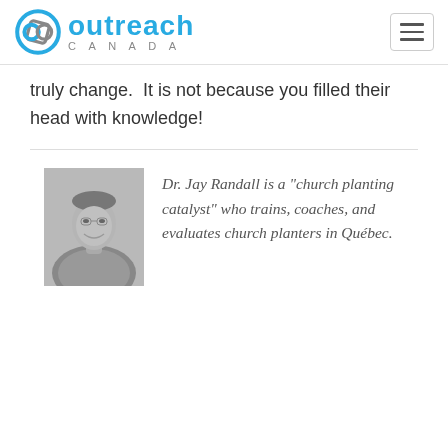Outreach Canada
truly change.  It is not because you filled their head with knowledge!
[Figure (photo): Black and white headshot photo of Dr. Jay Randall, a middle-aged man smiling, wearing a plaid shirt]
Dr. Jay Randall is a “church planting catalyst” who trains, coaches, and evaluates church planters in Québec.